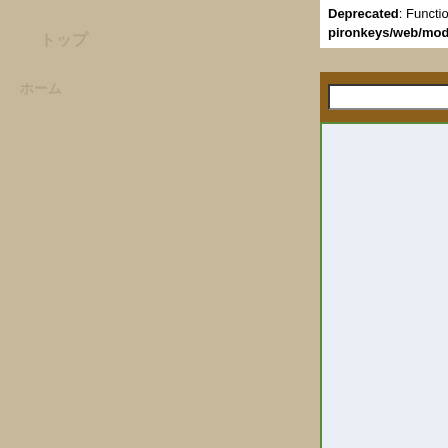Deprecated: Function eregi() is deprecated in /home/users/2/m pironkeys/web/modules/piCal/include/patTemplate.php on li
[Figure (screenshot): Web calendar navigation bar with brown background, dropdown selector showing Japanese text, two green navigation buttons (rewind/back), and date display showing 2009年 11月 7日 in yellow/gold text]
[Figure (screenshot): Calendar day view area with light blue-gray background and green border, showing Japanese day label text, mostly empty content area for 2009-11-07]
2009年 ◄ 11月 ◄ 7